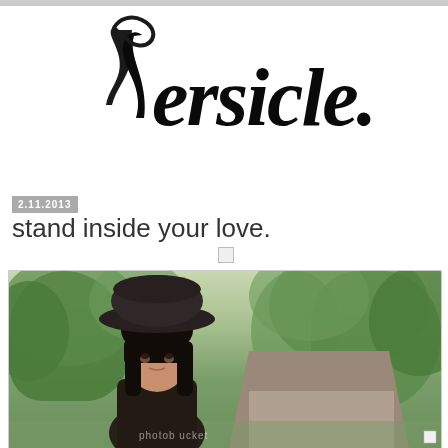Versicle.
2.11.2013
stand inside your love.
[Figure (photo): A young woman wearing a wide-brimmed dark hat standing outdoors in a garden setting with trees and a tiled-roof building in the background]